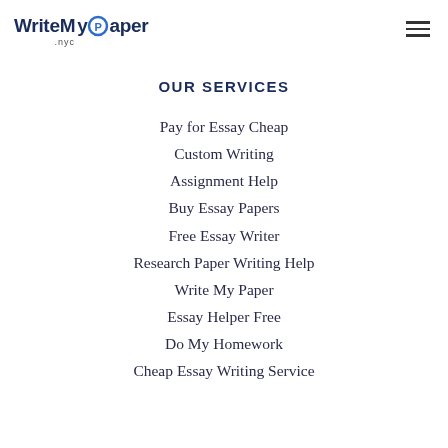WriteMyPaper .nyc
OUR SERVICES
Pay for Essay Cheap
Custom Writing
Assignment Help
Buy Essay Papers
Free Essay Writer
Research Paper Writing Help
Write My Paper
Essay Helper Free
Do My Homework
Cheap Essay Writing Service